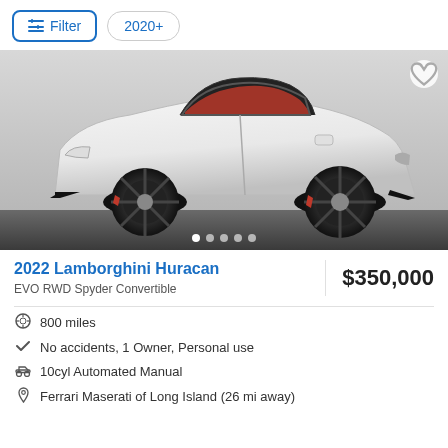Filter | 2020+
[Figure (photo): White 2022 Lamborghini Huracan EVO RWD Spyder Convertible photographed in a studio setting with red interior visible. Black wheels with red brake calipers. Five carousel navigation dots at the bottom of the image.]
2022 Lamborghini Huracan
$350,000
EVO RWD Spyder Convertible
800 miles
No accidents, 1 Owner, Personal use
10cyl Automated Manual
Ferrari Maserati of Long Island (26 mi away)